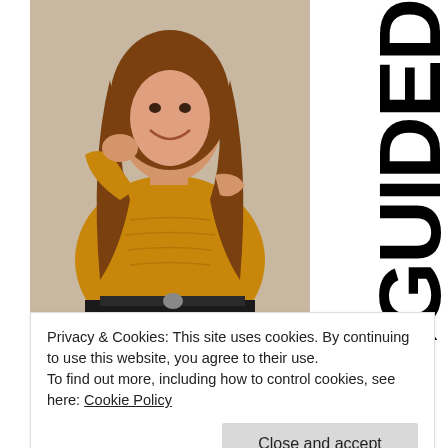[Figure (photo): Woman wearing a mustard yellow off-shoulder knit sweater with black jeans and belt, smiling, brown wavy hair]
MISSGUIDE
Privacy & Cookies: This site uses cookies. By continuing to use this website, you agree to their use.
To find out more, including how to control cookies, see here: Cookie Policy
Close and accept
Beauty?! To celebrate this huge brand coming to